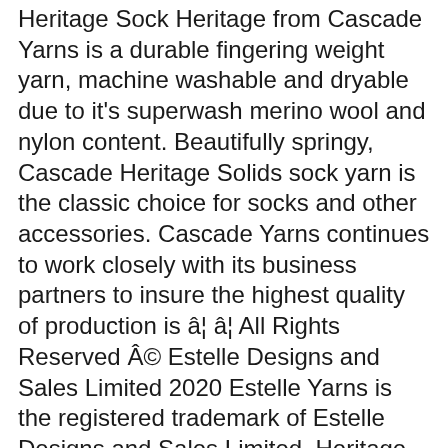Heritage Sock Heritage from Cascade Yarns is a durable fingering weight yarn, machine washable and dryable due to it's superwash merino wool and nylon content. Beautifully springy, Cascade Heritage Solids sock yarn is the classic choice for socks and other accessories. Cascade Yarns continues to work closely with its business partners to insure the highest quality of production is â¦ â¦ All Rights Reserved © Estelle Designs and Sales Limited 2020 Estelle Yarns is the registered trademark of Estelle Designs and Sales Limited. Heritage has amazing stitch definition and with 437 yards and an array of colours, this yarn is great for one skein projects, such as socks, mitts and other fun accessories. The gorgeous Heritage Solids yarn is made up of 75% Superwash merino and is available in some frankly fabulous shades, so youâre guaranteed to â¦ Weight: Super Fine/Sock; Fiber Content: 75% Superwash Merino Wool , 25% Nylon; Texture: Plied; Multicolor Self-patterning colors, Superwash Sock Yarn. Heritage. $11.00. Cascade Yarns Heritage Wave is a super-soft yet durable yarn that is